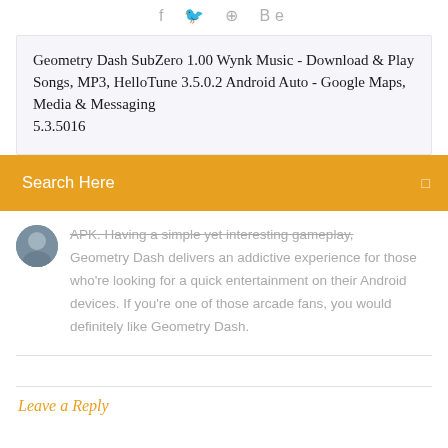f  🐦  ⊕  Be
Geometry Dash SubZero 1.00 Wynk Music - Download & Play Songs, MP3, HelloTune 3.5.0.2 Android Auto - Google Maps, Media & Messaging 5.3.5016
Search Here
APK. Having a simple yet interesting gameplay, Geometry Dash delivers an addictive experience for those who're looking for a quick entertainment on their Android devices. If you're one of those arcade fans, you would definitely like Geometry Dash.
Leave a Reply